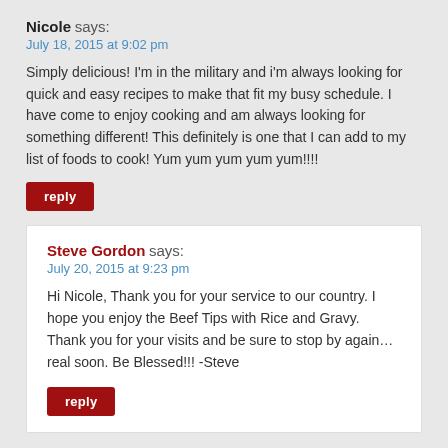Nicole says:
July 18, 2015 at 9:02 pm
Simply delicious! I'm in the military and i'm always looking for quick and easy recipes to make that fit my busy schedule. I have come to enjoy cooking and am always looking for something different! This definitely is one that I can add to my list of foods to cook! Yum yum yum yum yum!!!!
reply
Steve Gordon says:
July 20, 2015 at 9:23 pm
Hi Nicole, Thank you for your service to our country. I hope you enjoy the Beef Tips with Rice and Gravy. Thank you for your visits and be sure to stop by again… real soon. Be Blessed!!! -Steve
reply
Motheroflittle says: